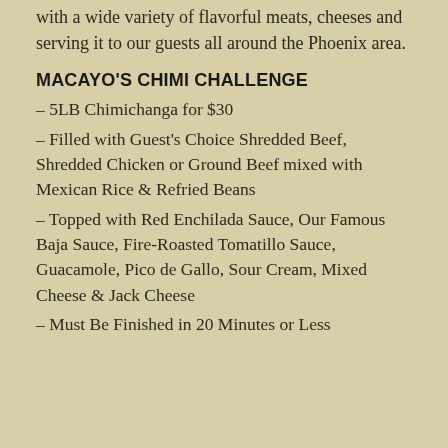with a wide variety of flavorful meats, cheeses and serving it to our guests all around the Phoenix area.
MACAYO'S CHIMI CHALLENGE
– 5LB Chimichanga for $30
– Filled with Guest's Choice Shredded Beef, Shredded Chicken or Ground Beef mixed with Mexican Rice & Refried Beans
– Topped with Red Enchilada Sauce, Our Famous Baja Sauce, Fire-Roasted Tomatillo Sauce, Guacamole, Pico de Gallo, Sour Cream, Mixed Cheese & Jack Cheese
– Must Be Finished in 20 Minutes or Less